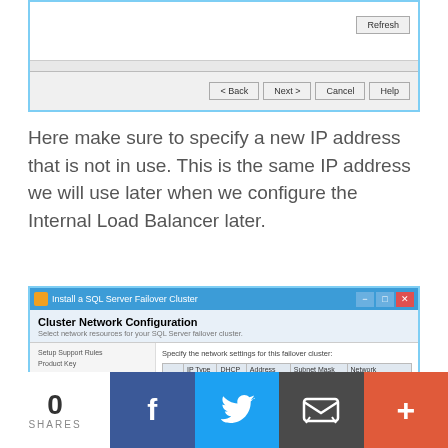[Figure (screenshot): Top portion of SQL Server Failover Cluster installer dialog showing Refresh button and navigation buttons (< Back, Next >, Cancel, Help) at the bottom]
Here make sure to specify a new IP address that is not in use. This is the same IP address we will use later when we configure the Internal Load Balancer later.
[Figure (screenshot): SQL Server Failover Cluster installer showing Cluster Network Configuration screen with a table listing IPv4, DHCP unchecked, Address 10.0.0.102, Subnet Mask 255.255.255.0, Network Cluster Networ... Left sidebar shows wizard steps with Cluster Network Configuration highlighted in bold.]
0 SHARES